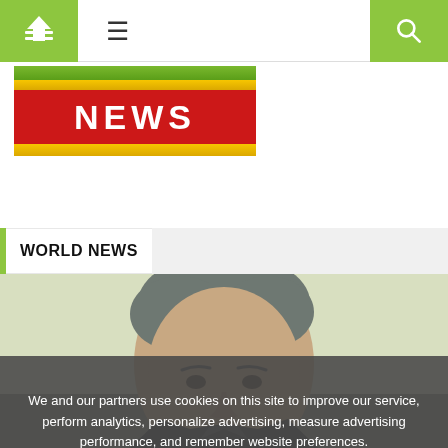Navigation bar with home, menu, and search icons
[Figure (logo): News website logo with green bar, gold decorative bars, and red NEWS text box]
WORLD NEWS
[Figure (photo): Close-up portrait photo of a middle-aged man with grey hair, seen from forehead to chin, against a light yellow background]
We and our partners use cookies on this site to improve our service, perform analytics, personalize advertising, measure advertising performance, and remember website preferences.
Ok